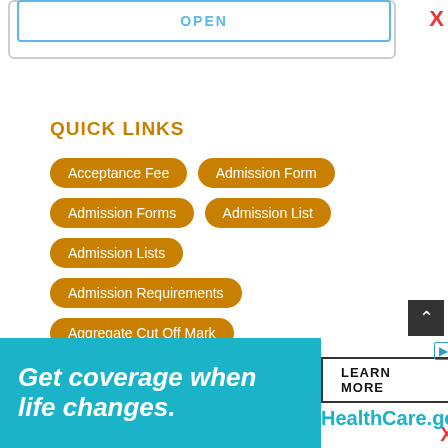[Figure (screenshot): OPEN button with teal border inside a grey-bordered box]
QUICK LINKS
Acceptance Fee
Admission Form
Admission Forms
Admission List
Admission Lists
Admission Requirements
Aggregate Cut Off Mark
Aggregate Score
Hostel Accommodation Fee
[Figure (screenshot): HealthCare.gov advertisement banner: 'Get coverage when life changes.' with LEARN MORE button]